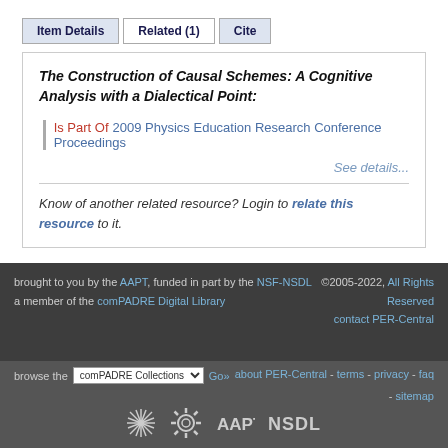Item Details | Related (1) | Cite
The Construction of Causal Schemes: A Cognitive Analysis with a Dialectical Point:
Is Part Of 2009 Physics Education Research Conference Proceedings
See details...
Know of another related resource? Login to relate this resource to it.
brought to you by the AAPT, funded in part by the NSF-NSDL a member of the comPADRE Digital Library ©2005-2022, All Rights Reserved contact PER-Central browse the comPADRE Collections Go» about PER-Central - terms - privacy - faq - sitemap